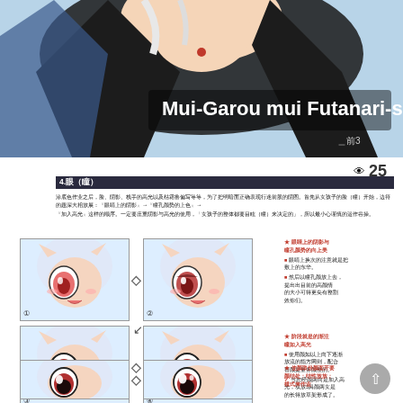[Figure (illustration): Anime illustration of a character with text overlay 'Mui-Garou mui Futanari-san..' and attribution mark]
25
4.眼（瞳）
涂底色作业之后，脸、阴影、栈手的高光以及枯霜鲁偏写等等，为了把明暗面正确表现行迷前股的阴图。首先从女孩子的脸（瞳）开始，边符的题深大相放展：『眼睛上的阴影』→『瞳孔颜势的上色』→『加入高光』这样的顺序。一定要庄重阴影与高光的使用，「女孩子的整体都要目眩（瞳）来决定的」，所以最小心谨慎的运作谷操。
[Figure (illustration): Step 1: Anime eye coloring step - initial base color on eye]
[Figure (illustration): Step 2: Anime eye coloring step - shadow added to eye]
★ 眼睛上的阴影与瞳孔颜势的向上美
■ 眼睛上换次的注意就是把敷上的东华。
■ 然后以瞳孔颜放上去，提出出目前的高颜情的大小可得更尖有整割效你们。
[Figure (illustration): Step 3: Anime eye coloring step - gradient/depth added]
[Figure (illustration): Step 4: Anime eye coloring step - highlights added]
★ 阶段就是的渐注瞳如入高光
■ 使用颜如以上向下逐渐放流的指方网则，配合替颜提量务颜整的。
✓ 当您经颜两向是加入高光，双放3具颜两女是的长得放草架形成了。
[Figure (illustration): Step 5: Anime eye coloring step - further refinement]
[Figure (illustration): Step 6: Anime eye coloring step - final details]
★ 使颜取份颜面开要颜结处：结性放放；模式来作业